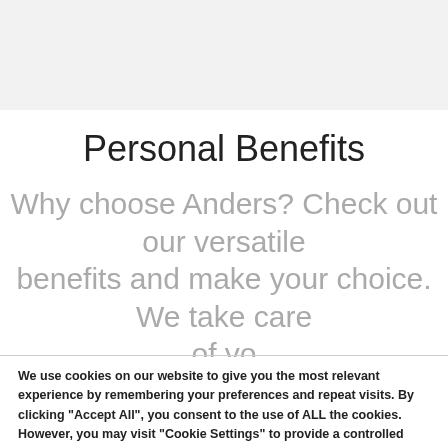Personal Benefits
Why choose Anders? Check out our versatile benefits and make your choice. We take care of yo
We use cookies on our website to give you the most relevant experience by remembering your preferences and repeat visits. By clicking "Accept All", you consent to the use of ALL the cookies. However, you may visit "Cookie Settings" to provide a controlled consent.